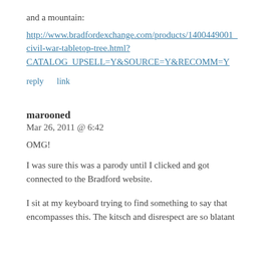and a mountain:
http://www.bradfordexchange.com/products/1400449001_civil-war-tabletop-tree.html?CATALOG_UPSELL=Y&SOURCE=Y&RECOMM=Y
reply   link
marooned
Mar 26, 2011 @ 6:42
OMG!
I was sure this was a parody until I clicked and got connected to the Bradford website.
I sit at my keyboard trying to find something to say that encompasses this. The kitsch and disrespect are so blatant